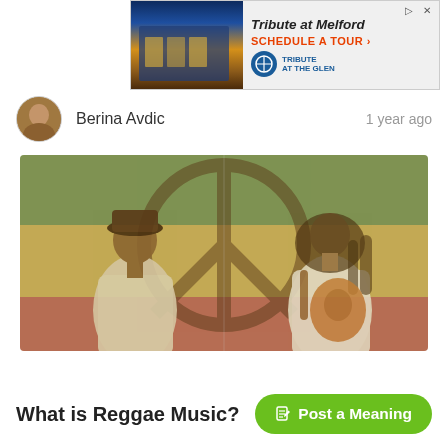[Figure (photo): Advertisement banner for 'Tribute at Melford' with a photo of an apartment building at night on the left, and text 'Tribute at Melford' in italic bold, 'SCHEDULE A TOUR' in red, and the Tribute logo on the right.]
Berina Avdic
1 year ago
[Figure (photo): A composite image showing two reggae musicians set against a background featuring the Jamaican flag colors (green, gold, red) and a large peace sign symbol. The left figure wears a cap and light shirt; the right figure has dreadlocks and plays an acoustic guitar.]
What is Reggae Music?
✎ Post a Meaning